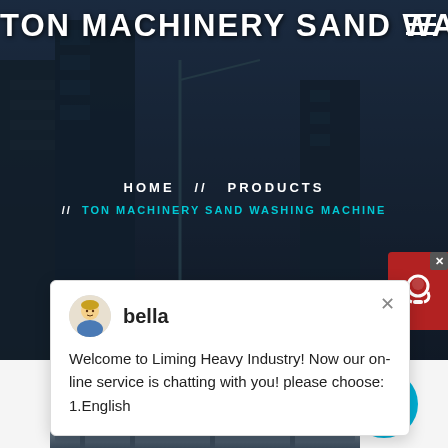TON MACHINERY SAND WASHING MACHINE
HOME  //  PRODUCTS
//  TON MACHINERY SAND WASHING MACHINE
bella
Welcome to Liming Heavy Industry! Now our on-line service is chatting with you! please choose: 1.English
[Figure (photo): Industrial sand washing machine in a factory/construction site setting]
1